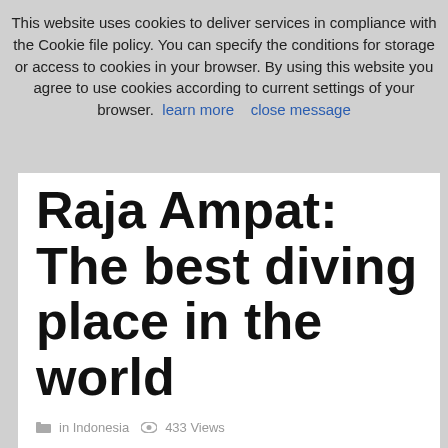This website uses cookies to deliver services in compliance with the Cookie file policy. You can specify the conditions for storage or access to cookies in your browser. By using this website you agree to use cookies according to current settings of your browser. learn more   close message
Raja Ampat: The best diving place in the world
in Indonesia  433 Views
This relatively new tourist destination of Indonesia is located on the Doberai Peninsula, also known as the Bird's Head Peninsula, which is the western end of the large island of New Guinea. Raja Ampat in West Papua is considered to be one of the